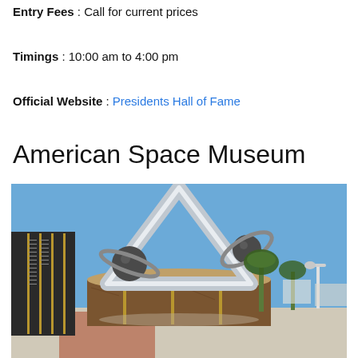Entry Fees : Call for current prices
Timings : 10:00 am to 4:00 pm
Official Website : Presidents Hall of Fame
American Space Museum
[Figure (photo): Outdoor sculpture at the American Space Museum: a large metallic triangular arch with two spheres and orbital ring elements, mounted on a cylindrical bronze base with engraved panels. Palm trees and a lamp post visible in the background under a blue sky.]